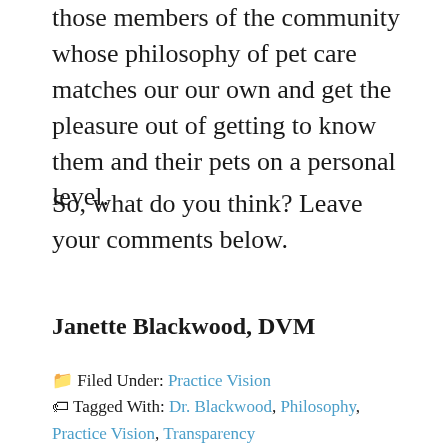those members of the community whose philosophy of pet care matches our our own and get the pleasure out of getting to know them and their pets on a personal level.
So, what do you think? Leave your comments below.
Janette Blackwood, DVM
Filed Under: Practice Vision
Tagged With: Dr. Blackwood, Philosophy, Practice Vision, Transparency